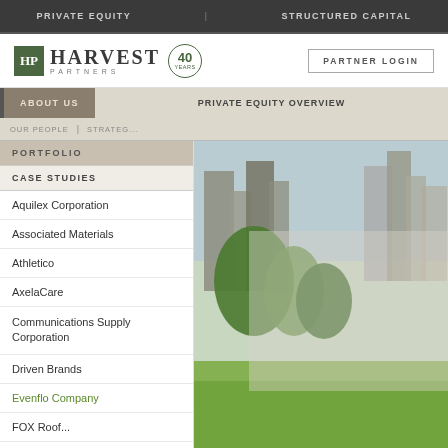PRIVATE EQUITY | STRUCTURED CAPITAL
[Figure (logo): Harvest Partners logo with HP monogram in green box, '40 YEARS' anniversary badge, and PARTNER LOGIN button]
ABOUT US | PRIVATE EQUITY OVERVIEW | OUR PEOPLE | STRATEGY
PORTFOLIO
CASE STUDIES
Aquilex Corporation
Associated Materials
Athletico
AxelaCare
Communications Supply Corporation
Driven Brands
Evenflo Company
FOX Roof...
[Figure (photo): City skyline with tall buildings and trees, partially overlaid with a frosted glass panel]
© Harvest Partners  Legal | Terms of Use